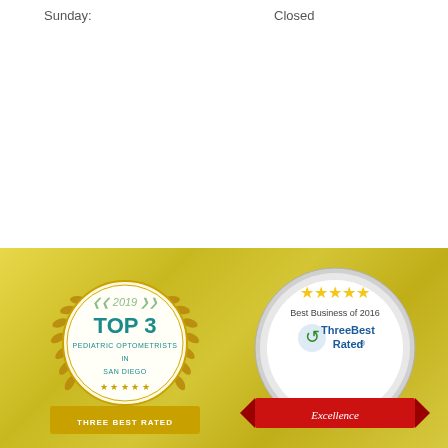Sunday:    Closed
[Figure (illustration): 2019 Top 3 Pediatric Optometrists in San Diego - Three Best Rated gold laurel badge with stars]
[Figure (illustration): Best Business of 2016 ThreeBest Rated Excellence badge with five stars and red ribbon]